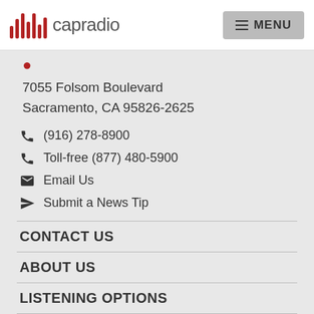capradio — MENU
7055 Folsom Boulevard
Sacramento, CA 95826-2625
(916) 278-8900
Toll-free (877) 480-5900
Email Us
Submit a News Tip
CONTACT US
ABOUT US
LISTENING OPTIONS
[Figure (illustration): Social media icons: Facebook, Twitter, Instagram, YouTube]